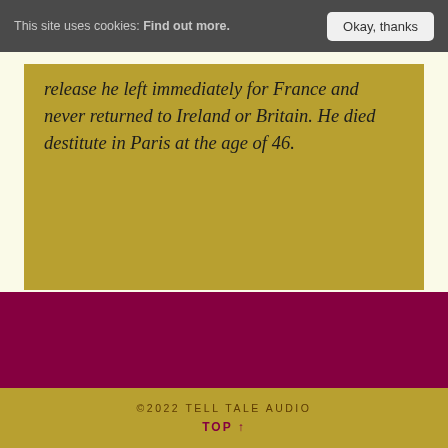This site uses cookies: Find out more.  Okay, thanks
release he left immediately for France and never returned to Ireland or Britain. He died destitute in Paris at the age of 46.
©2022 TELL TALE AUDIO  TOP ↑